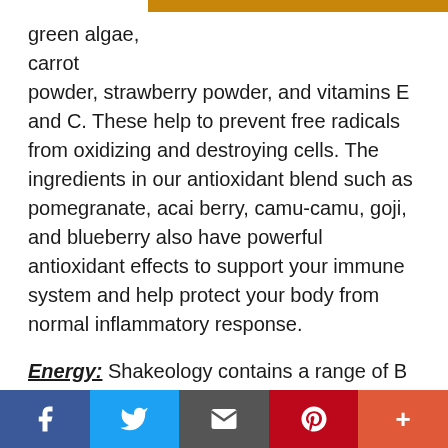[Figure (photo): Top strip showing white background on left and brown/orange image on right]
green algae, carrot powder, strawberry powder, and vitamins E and C. These help to prevent free radicals from oxidizing and destroying cells. The ingredients in our antioxidant blend such as pomegranate, acai berry, camu-camu, goji, and blueberry also have powerful antioxidant effects to support your immune system and help protect your body from normal inflammatory response.
Energy: Shakeology contains a range of B vitamins and trace minerals, like zinc and magnesium, from whole food sources that regulate metabolism and increase energy. Shakeology also contains maca root, an adaptogen herb known to promote endurance and stamina.
Social share bar: Facebook, Twitter, Email, Pinterest, Plus